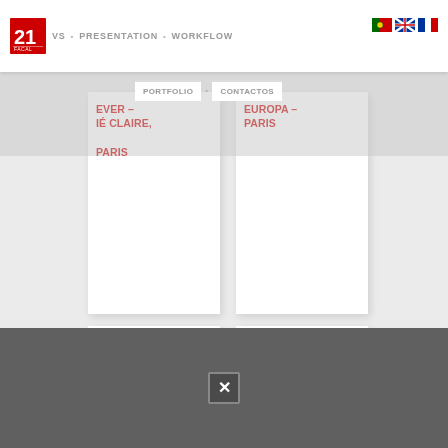VS • PRESENTATION • WORKFLOW
EVER – IÉ CLAIRE, PARIS
EUROPA – CONTACTOS PARIS
[Figure (screenshot): Website screenshot showing a portfolio page with logo, navigation bar with language flags, two partially visible project cards with red text titles 'EVER – IÉ CLAIRE, PARIS' and 'EUROPA – CONTACTOS PARIS', card grid below, and dark footer with close button]
Close button (×) in dark grey footer bar